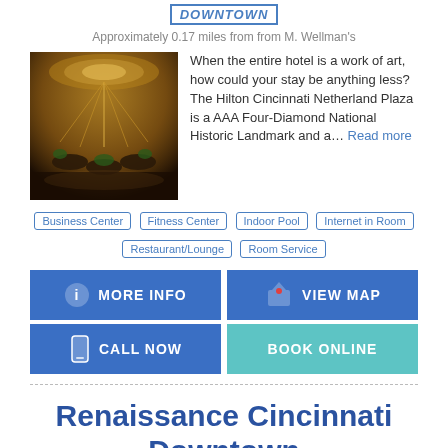DOWNTOWN
Approximately 0.17 miles from from M. Wellman's
[Figure (photo): Interior of Hilton Cincinnati Netherland Plaza hotel showing ornate dining room]
When the entire hotel is a work of art, how could your stay be anything less? The Hilton Cincinnati Netherland Plaza is a AAA Four-Diamond National Historic Landmark and a... Read more
Business Center
Fitness Center
Indoor Pool
Internet in Room
Restaurant/Lounge
Room Service
MORE INFO
VIEW MAP
CALL NOW
BOOK ONLINE
Renaissance Cincinnati Downtown
DOWNTOWN